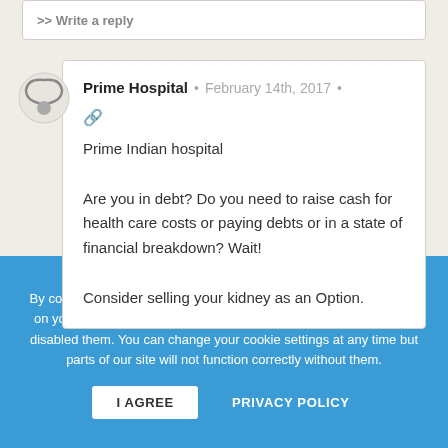>> Write a reply
[Figure (illustration): User avatar icon showing a stylized person silhouette in gray tones]
Prime Hospital • February 14th, 2017 • 🔗
Prime Indian hospital
Are you in debt? Do you need to raise cash for health care costs or paying debts or in a state of financial breakdown? Wait!
Consider selling your kidney as an Option.
By continuing to use this website, you consent to the use of cookies on your device as described in our Privacy Policy unless you have disabled them. You can change your cookie settings at any time but parts of our site will not function correctly without them.
I AGREE   PRIVACY POLICY